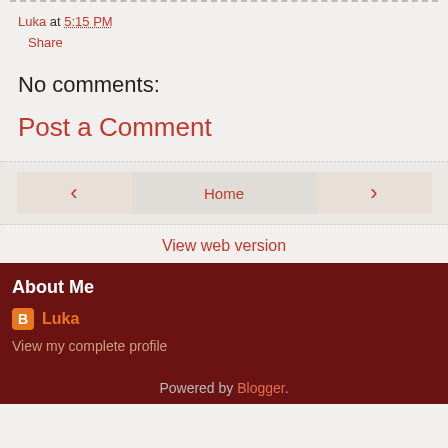Luka at 5:15 PM
Share
No comments:
Post a Comment
‹
Home
›
View web version
About Me
Luka
View my complete profile
Powered by Blogger.